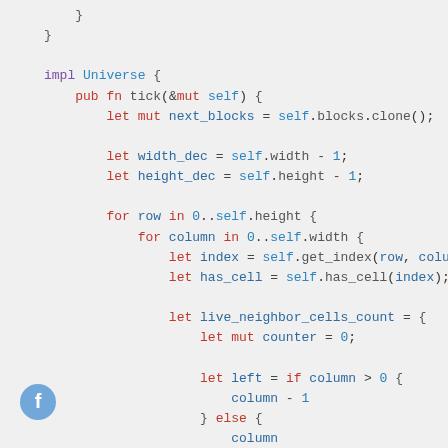}
}

impl Universe {
    pub fn tick(&mut self) {
        let mut next_blocks = self.blocks.clone();

        let width_dec = self.width - 1;
        let height_dec = self.height - 1;

        for row in 0..self.height {
            for column in 0..self.width {
                let index = self.get_index(row, column);
                let has_cell = self.has_cell(index);

                let live_neighbor_cells_count = {
                    let mut counter = 0;

                    let left = if column > 0 {
                        column - 1
                    } else {
                        column
[Figure (logo): Facebook icon - circular blue button with white 'f' letter]